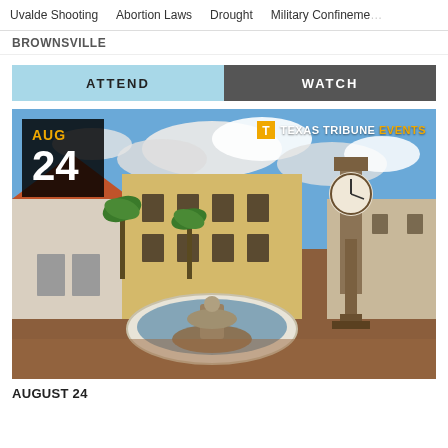Uvalde Shooting  Abortion Laws  Drought  Military Confinement
BROWNSVILLE
ATTEND  WATCH
[Figure (photo): A street scene in Brownsville, Texas showing a public square with a fountain, ornate clock tower, palm trees, a yellow colonial-style building, and a small red-roofed structure. The image has an overlay showing the date AUG 24 and a Texas Tribune Events logo.]
AUGUST 24